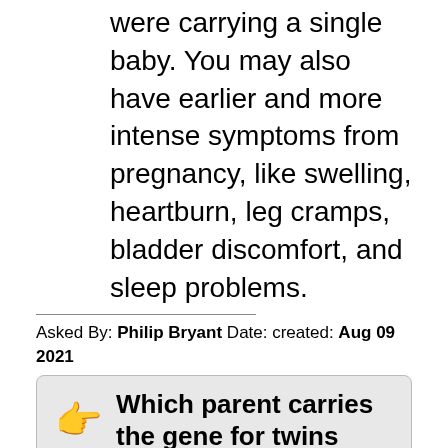were carrying a single baby. You may also have earlier and more intense symptoms from pregnancy, like swelling, heartburn, leg cramps, bladder discomfort, and sleep problems.
Asked By: Philip Bryant Date: created: Aug 09 2021
Which parent carries the gene for twins
Answered By: Norman Alexander Date: created: Aug 11 2021
This is why fraternal twins run in families. However, only women ovulate. So, the mother's genes control this and the fathers don't. This is why having a